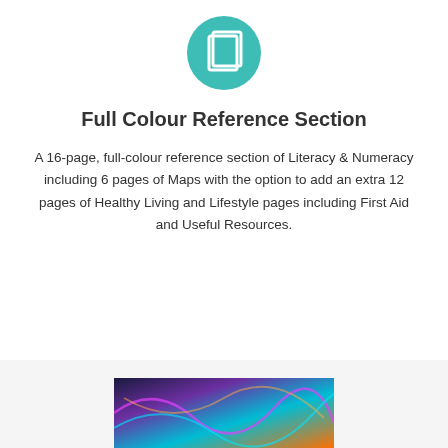[Figure (illustration): Teal circular icon with a white document/pages symbol inside]
Full Colour Reference Section
A 16-page, full-colour reference section of Literacy & Numeracy including 6 pages of Maps with the option to add an extra 12 pages of Healthy Living and Lifestyle pages including First Aid and Useful Resources.
[Figure (photo): Colorful abstract swirling image visible at the very bottom of the page]